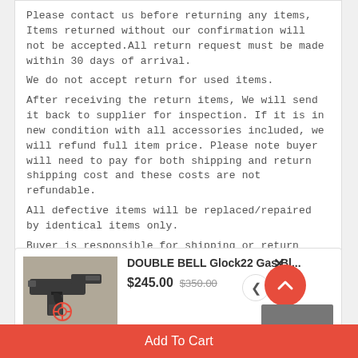Please contact us before returning any items. Items returned without our confirmation will not be accepted.All return request must be made within 30 days of arrival.
We do not accept return for used items.
After receiving the return items, We will send it back to supplier for inspection. If it is in new condition with all accessories included, we will refund full item price. Please note buyer will need to pay for both shipping and return shipping cost and these costs are not refundable.
All defective items will be replaced/repaired by identical items only.
Buyer is responsible for shipping or return shipping cost in all cases.
Ihobby online store
[Figure (photo): Product card showing a handgun (DOUBLE BELL Glock22 Gas Blowback) with price $245.00 (was $350.00), with close button, navigation arrow, scroll-to-top button, and Add To Cart bar]
DOUBLE BELL Glock22 Gas Bl...
$245.00 $350.00
Add To Cart